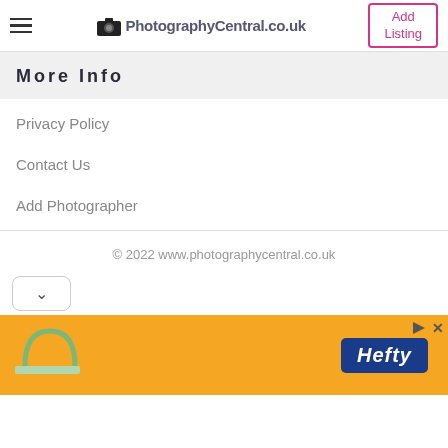PhotographyCentral.co.uk | Add Listing
More Info
Privacy Policy
Contact Us
Add Photographer
© 2022 www.photographycentral.co.uk
[Figure (other): Hefty advertisement banner with orange background]